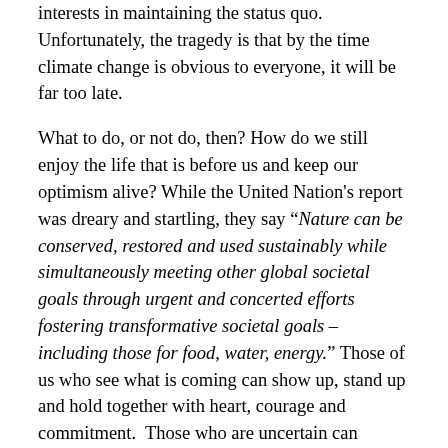interests in maintaining the status quo. Unfortunately, the tragedy is that by the time climate change is obvious to everyone, it will be far too late.
What to do, or not do, then? How do we still enjoy the life that is before us and keep our optimism alive? While the United Nation's report was dreary and startling, they say “Nature can be conserved, restored and used sustainably while simultaneously meeting other global societal goals through urgent and concerted efforts fostering transformative societal goals – including those for food, water, energy.” Those of us who see what is coming can show up, stand up and hold together with heart, courage and commitment.  Those who are uncertain can gradually join in. Amid all this uncertainty, one thing is for certain: this situation will be far easier if we take a joint approach rather than a divisive one. This holds true whether we avert the crisis or adapt to it. Think of it this way: we have an opportunity to witness